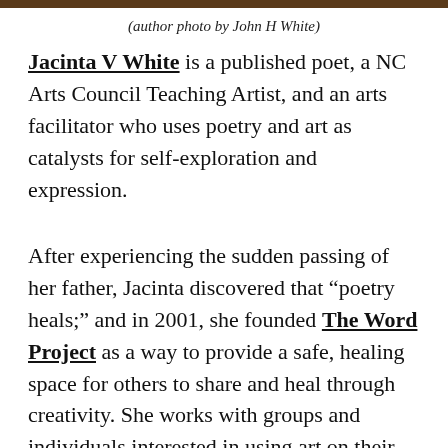[Figure (photo): Author photo strip at top of page — partial image of a person, clipped]
(author photo by John H White)
Jacinta V White is a published poet, a NC Arts Council Teaching Artist, and an arts facilitator who uses poetry and art as catalysts for self-exploration and expression.
After experiencing the sudden passing of her father, Jacinta discovered that “poetry heals;” and in 2001, she founded The Word Project as a way to provide a safe, healing space for others to share and heal through creativity. She works with groups and individuals interested in using art on their healing journey, leads retreats, and offers online poetry